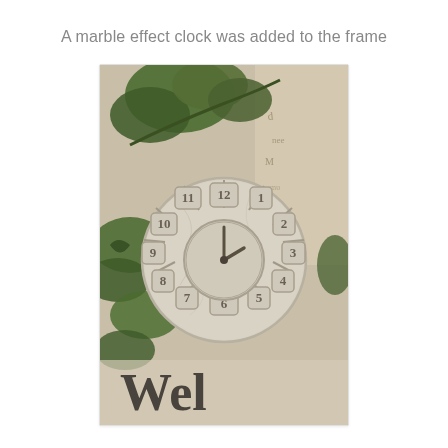A marble effect clock was added to the frame
[Figure (photo): A marble effect decorative clock with raised Roman-numeral-style hour markers arranged in a circular pattern, surrounded by ivy leaves and mounted on a wooden frame with script writing. A 'Welcome' text is partially visible at the bottom.]